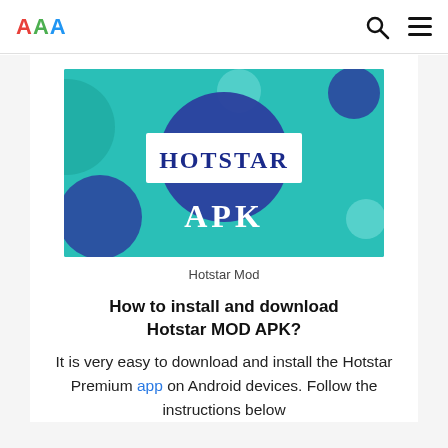AAA [logo] | search icon | menu icon
[Figure (illustration): Hotstar APK promotional banner image on teal/turquoise background with blue circles, featuring 'HOTSTAR' in a white-bordered rectangle and 'APK' in large white text below]
Hotstar Mod
How to install and download Hotstar MOD APK?
It is very easy to download and install the Hotstar Premium app on Android devices. Follow the instructions below